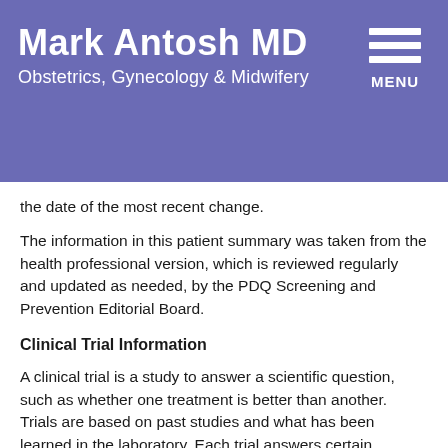Mark Antosh MD — Obstetrics, Gynecology & Midwifery
the date of the most recent change.
The information in this patient summary was taken from the health professional version, which is reviewed regularly and updated as needed, by the PDQ Screening and Prevention Editorial Board.
Clinical Trial Information
A clinical trial is a study to answer a scientific question, such as whether one treatment is better than another. Trials are based on past studies and what has been learned in the laboratory. Each trial answers certain scientific questions in order to find new and better ways to help cancer patients. During treatment clinical trials, information is collected about the effects of a new treatment and how well it works. If a clinical trial shows that a new treatment is better than one currently being used, the new treatment may become "standard." Patients may want to think about taking part in a clinical trial. Some clinical trials are open only to patients who have not started treatment.